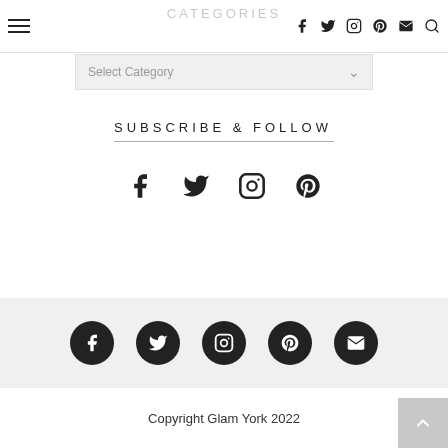CATEGORIES
Select Category
SUBSCRIBE & FOLLOW
[Figure (other): Social media icons row (Facebook, Twitter, Instagram, Pinterest) mid-page]
[Figure (other): Footer social media icon circles (Facebook, Twitter, Instagram, Pinterest, Email)]
Copyright Glam York 2022